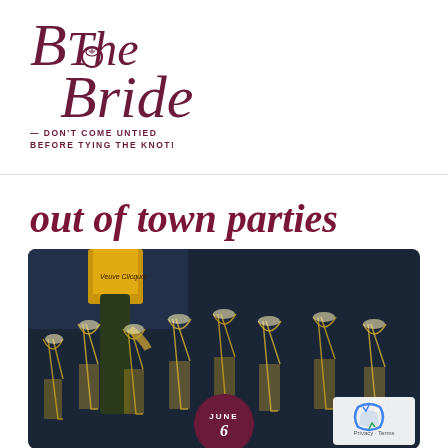[Figure (logo): Be The Bride logo with cursive script text and ring graphic. Tagline: DON'T COME UNTIED BEFORE TYING THE KNOT!]
out of town parties
[Figure (photo): Photo of champagne glasses being filled with Veuve Clicquot champagne at a party, with a June date badge overlay in the bottom center and reCAPTCHA badge in bottom right corner.]